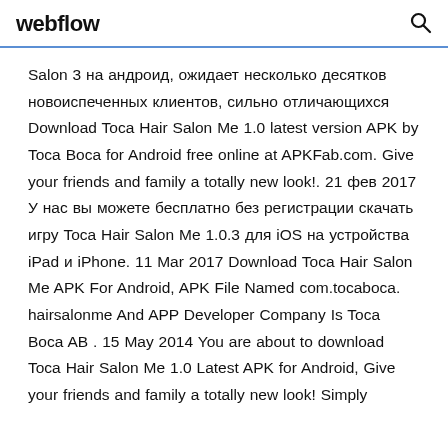webflow
Salon 3 на андроид, ожидает несколько десятков новоиспеченных клиентов, сильно отличающихся  Download Toca Hair Salon Me 1.0 latest version APK by Toca Boca for Android free online at APKFab.com. Give your friends and family a totally new look!. 21 фев 2017 У нас вы можете бесплатно без регистрации скачать игру Toca Hair Salon Me 1.0.3 для iOS на устройства iPad и iPhone. 11 Mar 2017 Download Toca Hair Salon Me APK For Android, APK File Named com.tocaboca. hairsalonme And APP Developer Company Is Toca Boca AB . 15 May 2014 You are about to download Toca Hair Salon Me 1.0 Latest APK for Android, Give your friends and family a totally new look! Simply